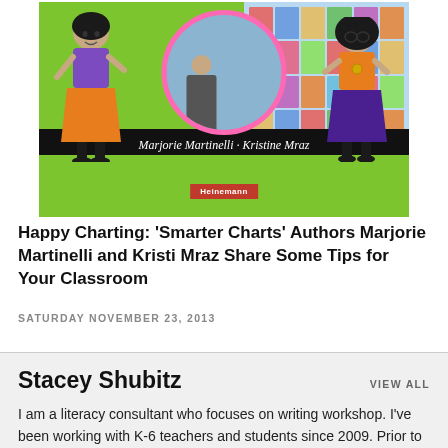[Figure (illustration): Book cover for 'Smarter Charts' showing two cartoon teacher characters on a green background with a circular classroom photo inset and classroom display chart image on the right. Authors Marjorie Martinelli and Kristi Mraz. Heinemann publisher logo at bottom.]
Happy Charting: 'Smarter Charts' Authors Marjorie Martinelli and Kristi Mraz Share Some Tips for Your Classroom
SATURDAY NOVEMBER 23, 2013
Stacey Shubitz
VIEW ALL
I am a literacy consultant who focuses on writing workshop. I've been working with K-6 teachers and students since 2009. Prior to that, I was a fourth and